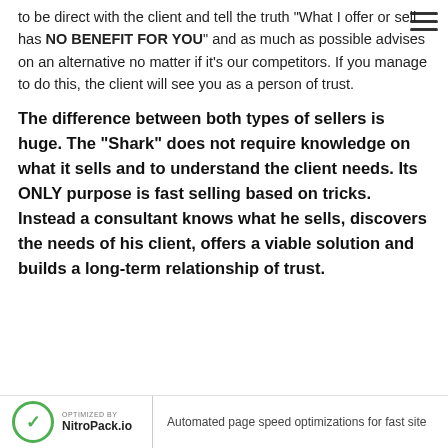to be direct with the client and tell the truth "What I offer or sell has NO BENEFIT FOR YOU" and as much as possible advises on an alternative no matter if it's our competitors. If you manage to do this, the client will see you as a person of trust.
The difference between both types of sellers is huge. The “Shark” does not require knowledge on what it sells and to understand the client needs. Its ONLY purpose is fast selling based on tricks. Instead a consultant knows what he sells, discovers the needs of his client, offers a viable solution and builds a long-term relationship of trust.
Automated page speed optimizations for fast site